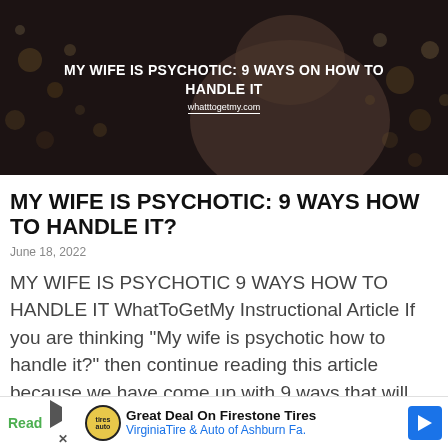[Figure (photo): Hero image of a woman sitting at a table with bokeh bokeh lights in background, with overlay text: MY WIFE IS PSYCHOTIC: 9 WAYS ON HOW TO HANDLE IT and website whatttogetmy.com]
MY WIFE IS PSYCHOTIC: 9 WAYS HOW TO HANDLE IT?
June 18, 2022
MY WIFE IS PSYCHOTIC 9 WAYS HOW TO HANDLE IT WhatToGetMy Instructional Article If you are thinking “My wife is psychotic how to handle it?” then continue reading this article because we have come up with 9 ways that will help you handle your psychotic
[Figure (other): Advertisement bar: Great Deal On Firestone Tires - VirginiaTire & Auto of Ashburn Fa. with Firestone auto logo and blue arrow navigation icon. Green Read label partially visible on left.]